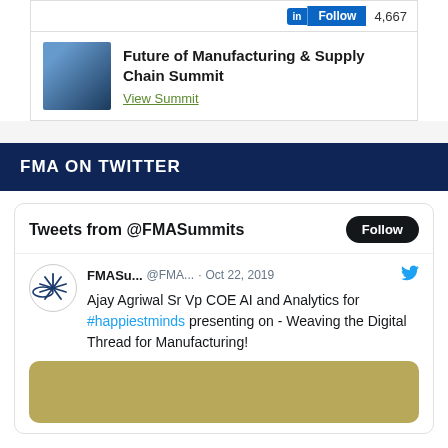[Figure (screenshot): LinkedIn follow button with 4,667 followers count]
Future of Manufacturing & Supply Chain Summit
View Summit
FMA ON TWITTER
Tweets from @FMASummits
FMASu... @FMA... · Oct 22, 2019 Ajay Agriwal Sr Vp COE AI and Analytics for #happiestminds presenting on - Weaving the Digital Thread for Manufacturing!
[Figure (photo): Tweet image with tan/gold background color placeholder]